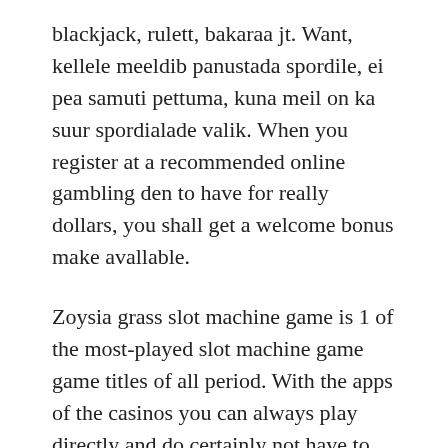blackjack, rulett, bakaraa jt. Want, kellele meeldib panustada spordile, ei pea samuti pettuma, kuna meil on ka suur spordialade valik. When you register at a recommended online gambling den to have for really dollars, you shall get a welcome bonus make avallable.
Zoysia grass slot machine game is 1 of the most-played slot machine game game titles of all period. With the apps of the casinos you can always play directly and do certainly not have to wait for the time on the computer. Like a superior destination for online slot machine games, Wildz Internet casino likewise offers plenty of of the business's best developing